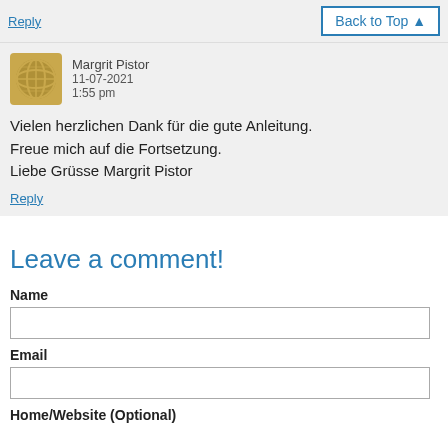Reply
Back to Top ▲
Margrit Pistor
11-07-2021
1:55 pm
Vielen herzlichen Dank für die gute Anleitung.
Freue mich auf die Fortsetzung.
Liebe Grüsse Margrit Pistor
Reply
Leave a comment!
Name
Email
Home/Website (Optional)